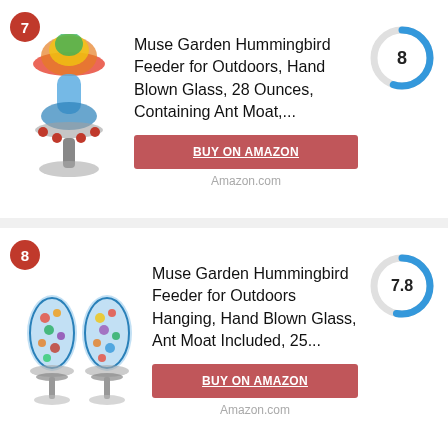7 - Muse Garden Hummingbird Feeder for Outdoors, Hand Blown Glass, 28 Ounces, Containing Ant Moat,... Score: 8 - BUY ON AMAZON - Amazon.com
8 - Muse Garden Hummingbird Feeder for Outdoors Hanging, Hand Blown Glass, Ant Moat Included, 25... Score: 7.8 - BUY ON AMAZON - Amazon.com